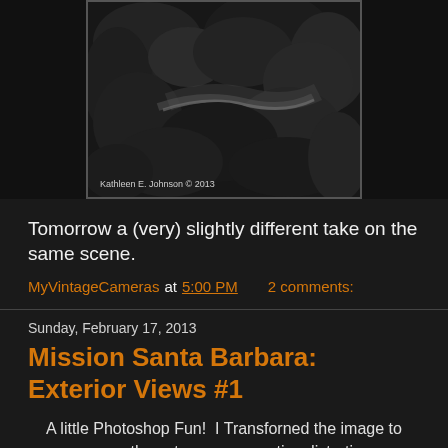[Figure (photo): Black and white photograph of a garden/tropical scene with plants and foliage, with a watermark reading 'Kathleen E. Johnson © 2013']
Tomorrow a (very) slightly different take on the same scene.
MyVintageCameras at 5:00 PM    2 comments:
Sunday, February 17, 2013
Mission Santa Barbara: Exterior Views #1
A little Photoshop Fun!  I Transforned the image to remove the extreme perspective distortion.